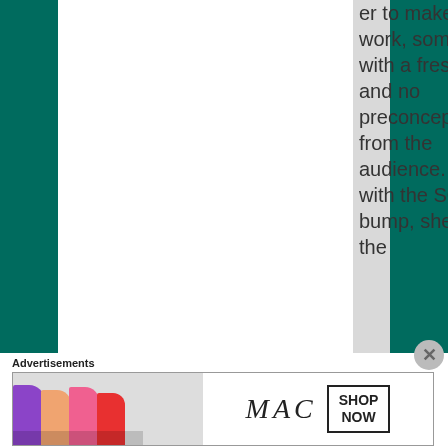er to make it work, someone with a fresh face and no preconceptions from the audience. And with the SOTY bump, she will be the
[Figure (photo): MAC cosmetics advertisement banner showing colorful lipsticks (purple, peach, pink, red) with MAC logo and SHOP NOW button]
Advertisements